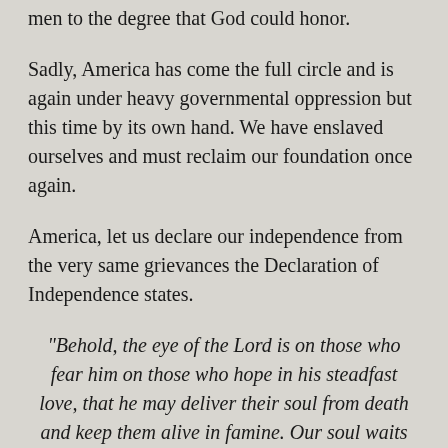men to the degree that God could honor.
Sadly, America has come the full circle and is again under heavy governmental oppression but this time by its own hand. We have enslaved ourselves and must reclaim our foundation once again.
America, let us declare our independence from the very same grievances the Declaration of Independence states.
“Behold, the eye of the Lord is on those who fear him on those who hope in his steadfast love, that he may deliver their soul from death and keep them alive in famine. Our soul waits for the Lord; he is our help and our shield. For our heart is glad in him, because we trust in his holy name. Let your steadfast love